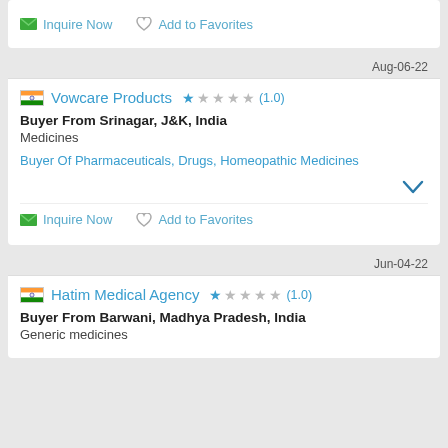Inquire Now   Add to Favorites
Aug-06-22
Vowcare Products  ★☆☆☆☆ (1.0)
Buyer From Srinagar, J&K, India
Medicines
Buyer Of Pharmaceuticals, Drugs, Homeopathic Medicines
Inquire Now   Add to Favorites
Jun-04-22
Hatim Medical Agency  ★☆☆☆☆ (1.0)
Buyer From Barwani, Madhya Pradesh, India
Generic medicines